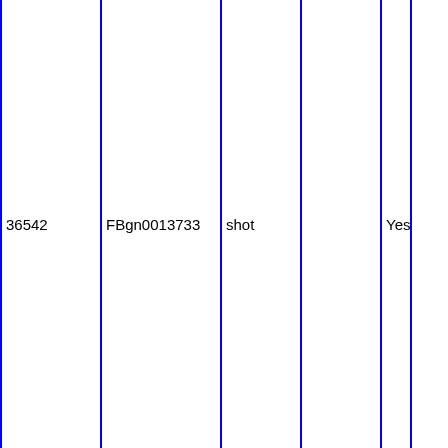| 36542 | FBgn0013733 | shot |  | Yes |  |